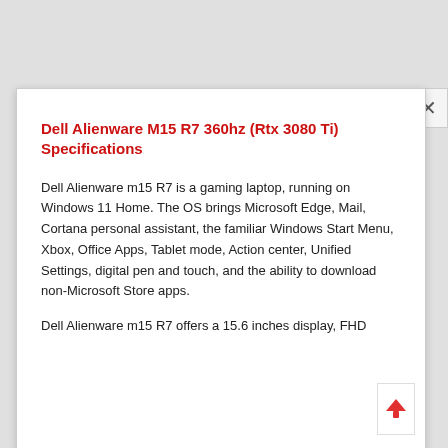Dell Alienware M15 R7 360hz (Rtx 3080 Ti) Specifications
Dell Alienware m15 R7 is a gaming laptop, running on Windows 11 Home. The OS brings Microsoft Edge, Mail, Cortana personal assistant, the familiar Windows Start Menu, Xbox, Office Apps, Tablet mode, Action center, Unified Settings, digital pen and touch, and the ability to download non-Microsoft Store apps.
Dell Alienware m15 R7 offers a 15.6 inches display, FHD